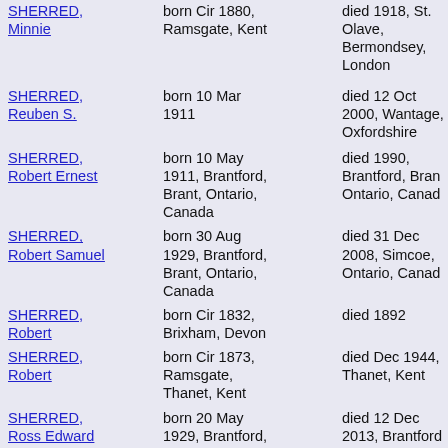SHERRED, Minnie | born Cir 1880, Ramsgate, Kent | died 1918, St. Olave, Bermondsey, London
SHERRED, Reuben S. | born 10 Mar 1911 | died 12 Oct 2000, Wantage, Oxfordshire
SHERRED, Robert Ernest | born 10 May 1911, Brantford, Brant, Ontario, Canada | died 1990, Brantford, Brant, Ontario, Canada
SHERRED, Robert Samuel | born 30 Aug 1929, Brantford, Brant, Ontario, Canada | died 31 Dec 2008, Simcoe, Ontario, Canada
SHERRED, Robert | born Cir 1832, Brixham, Devon | died 1892
SHERRED, Robert | born Cir 1873, Ramsgate, Thanet, Kent | died Dec 1944, Thanet, Kent
SHERRED, Ross Edward | born 20 May 1929, Brantford, Brant, Ontario, Canada | died 12 Dec 2013, Brantford, Brant, Ontario, Canada